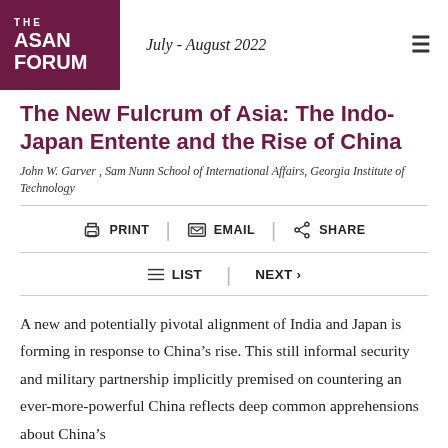THE ASAN FORUM | July - August 2022
The New Fulcrum of Asia: The Indo-Japan Entente and the Rise of China
John W. Garver , Sam Nunn School of International Affairs, Georgia Institute of Technology
PRINT | EMAIL | SHARE
LIST | NEXT >
A new and potentially pivotal alignment of India and Japan is forming in response to China's rise. This still informal security and military partnership implicitly premised on countering an ever-more-powerful China reflects deep common apprehensions about China's